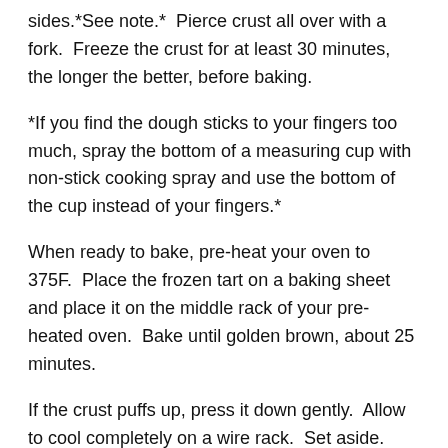sides.*See note.*  Pierce crust all over with a fork.  Freeze the crust for at least 30 minutes, the longer the better, before baking.
*If you find the dough sticks to your fingers too much, spray the bottom of a measuring cup with non-stick cooking spray and use the bottom of the cup instead of your fingers.*
When ready to bake, pre-heat your oven to 375F.  Place the frozen tart on a baking sheet and place it on the middle rack of your pre-heated oven.  Bake until golden brown, about 25 minutes.
If the crust puffs up, press it down gently.  Allow to cool completely on a wire rack.  Set aside.
Ingredients for fruit topping: